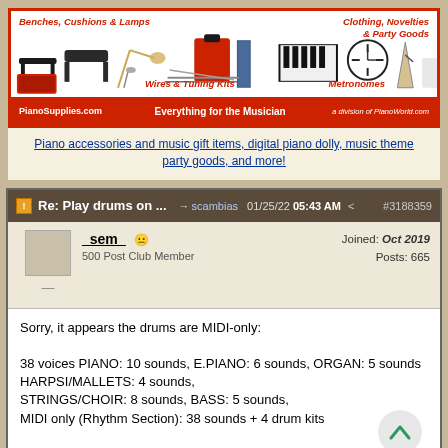[Figure (illustration): PianoSupplies.com advertisement banner showing piano benches, cushions, lamps, tuning kits, clothing, novelties, party goods, metronomes with red border and red footer bar.]
Piano accessories and music gift items, digital piano dolly, music theme party goods, and more!
Re: Play drums on ...  scambias  01/25/22  05:43 AM  #3188359
_sem_  500 Post Club Member  Joined: Oct 2019  Posts: 665
Sorry, it appears the drums are MIDI-only:

38 voices PIANO: 10 sounds, E.PIANO: 6 sounds, ORGAN: 5 sounds HARPSI/MALLETS: 4 sounds, STRINGS/CHOIR: 8 sounds, BASS: 5 sounds, MIDI only (Rhythm Section): 38 sounds + 4 drum kits

I recall there are computer programs, even as web apps, for